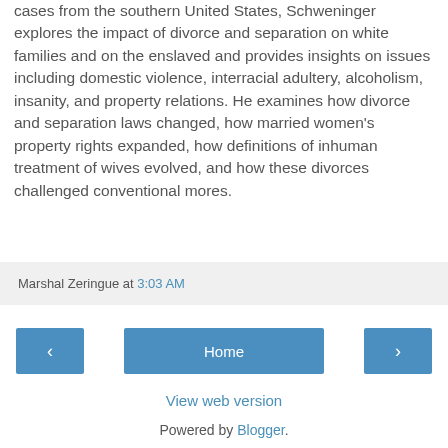cases from the southern United States, Schweninger explores the impact of divorce and separation on white families and on the enslaved and provides insights on issues including domestic violence, interracial adultery, alcoholism, insanity, and property relations. He examines how divorce and separation laws changed, how married women's property rights expanded, how definitions of inhuman treatment of wives evolved, and how these divorces challenged conventional mores.
Marshal Zeringue at 3:03 AM
View web version
Powered by Blogger.